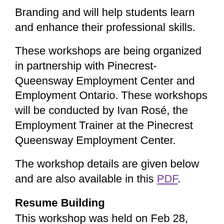Branding and will help students learn and enhance their professional skills.
These workshops are being organized in partnership with Pinecrest-Queensway Employment Center and Employment Ontario. These workshops will be conducted by Ivan Rosé, the Employment Trainer at the Pinecrest Queensway Employment Center.
The workshop details are given below and are also available in this PDF.
Resume Building
This workshop was held on Feb 28, 2022.
Click here to access the presentation.
Applying Online
This workshop was held on March 7, 2022.